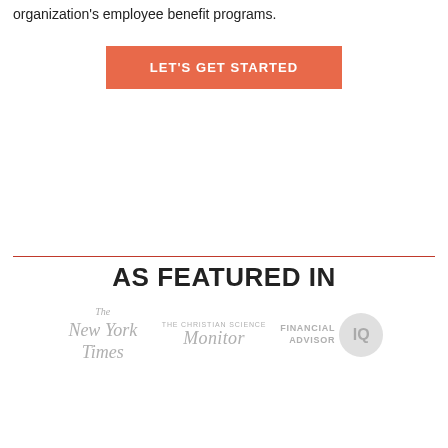organization's employee benefit programs.
[Figure (other): Orange/salmon colored button with white uppercase text reading 'LET'S GET STARTED']
AS FEATURED IN
[Figure (logo): Three publication logos side by side: The New York Times (grey serif italic), The Christian Science Monitor (grey), and Financial Advisor IQ (grey with circular IQ badge)]